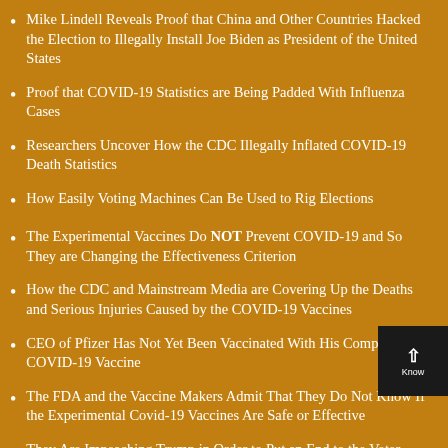Mike Lindell Reveals Proof that China and Other Countries Hacked the Election to Illegally Install Joe Biden as President of the United States
Proof that COVID-19 Statistics are Being Padded With Influenza Cases
Researchers Uncover How the CDC Illegally Inflated COVID-19 Death Statistics
How Easily Voting Machines Can Be Used to Rig Elections
The Experimental Vaccines Do NOT Prevent COVID-19 and So They are Changing the Effectiveness Criterion
How the CDC and Mainstream Media are Covering Up the Deaths and Serious Injuries Caused by the COVID-19 Vaccines
CEO of Pfizer Has Not Yet Been Vaccinated With His Company's COVID-19 Vaccine
The FDA and the Vaccine Makers Admit That They Do Not Know If the Experimental Covid-19 Vaccines Are Safe or Effective
They Are Impeaching Trump in Order to Put an End to the Voter Fraud Investigation